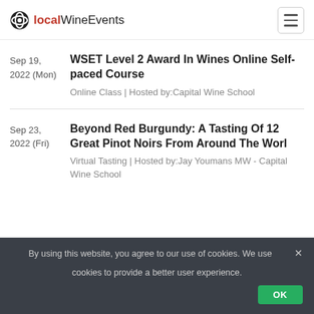localWineEvents
Sep 19, 2022 (Mon)
WSET Level 2 Award In Wines Online Self-paced Course
Online Class | Hosted by:Capital Wine School
Sep 23, 2022 (Fri)
Beyond Red Burgundy: A Tasting Of 12 Great Pinot Noirs From Around The Worl
Virtual Tasting | Hosted by:Jay Youmans MW - Capital Wine School
By using this website, you agree to our use of cookies. We use cookies to provide a better user experience.